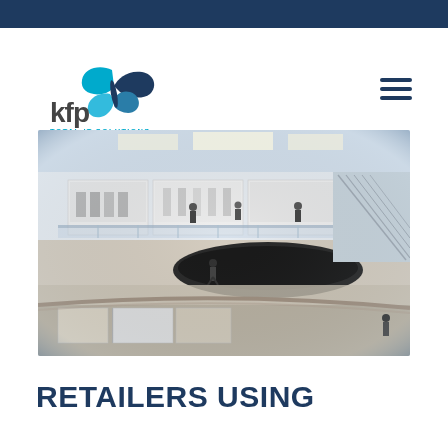[Figure (logo): KFP Total IT Solutions logo with butterfly/leaf icon in teal and blue, text 'kfp' in dark gray, 'TOTAL IT SOLUTIONS' in teal below]
[Figure (photo): Fish-eye interior photo of a modern multi-level shopping mall with glass storefronts, shoppers walking on upper floor, curved architecture, marble floors, bright lighting]
RETAILERS USING